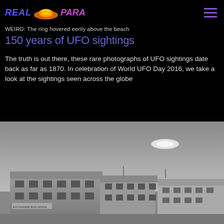REAL PARA [logo with UFO graphic]
WEIRD: The ring hovered eerily above the beach
150 years of UFO sightings
The truth is out there, these rare photographs of UFO sightings date back as far as 1870. In celebration of World UFO Day 2016, we take a look at the sightings seen across the globe
[Figure (photo): Black and white photograph showing a UFO / unidentified aerial object in the sky above a flat-roofed building labeled 'Exchange Buildings']